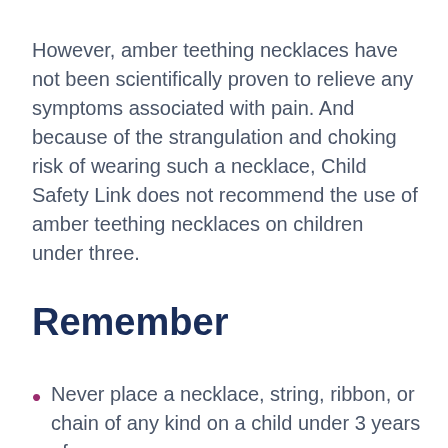However, amber teething necklaces have not been scientifically proven to relieve any symptoms associated with pain. And because of the strangulation and choking risk of wearing such a necklace, Child Safety Link does not recommend the use of amber teething necklaces on children under three.
Remember
Never place a necklace, string, ribbon, or chain of any kind on a child under 3 years of